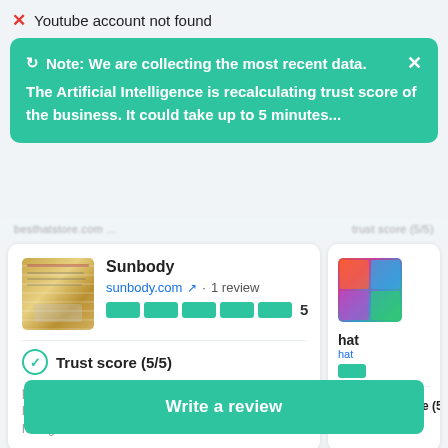Youtube account not found
Note: We are collecting the most recent data. The Artificial Intelligence is recalculating trust score of the business. It could take up to 5 minutes...
[Figure (screenshot): Partially obscured row showing website listing column headers]
[Figure (screenshot): Card for Sunbody website showing thumbnail, sunbody.com link, 1 review, 5 rating bars, Trust score (5/5), and description about hats]
[Figure (screenshot): Partially visible card on right showing thumbnail and Trust score (5/...)]
Write a review